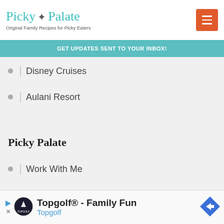Picky Palate — Original Family Recipes for Picky Eaters
GET UPDATES SENT TO YOUR INBOX!
Disney Cruises
Aulani Resort
Picky Palate
Work With Me
About & Contact
Press
Privacy
Privacy Tools
[Figure (infographic): Topgolf advertisement banner: Topgolf® - Family Fun, Topgolf logo, navigation arrow icon]